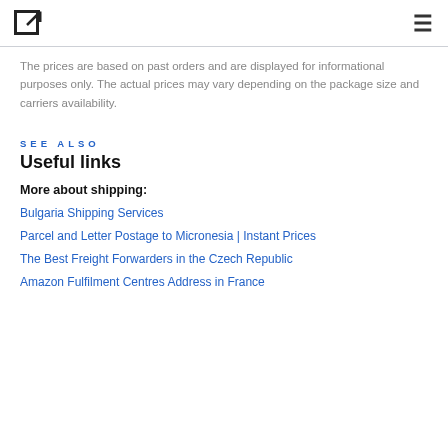[logo icon] [hamburger menu]
The prices are based on past orders and are displayed for informational purposes only. The actual prices may vary depending on the package size and carriers availability.
SEE ALSO
Useful links
More about shipping:
Bulgaria Shipping Services
Parcel and Letter Postage to Micronesia | Instant Prices
The Best Freight Forwarders in the Czech Republic
Amazon Fulfilment Centres Address in France